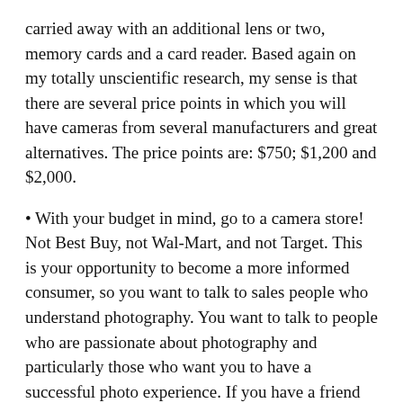carried away with an additional lens or two, memory cards and a card reader. Based again on my totally unscientific research, my sense is that there are several price points in which you will have cameras from several manufacturers and great alternatives. The price points are: $750; $1,200 and $2,000.
• With your budget in mind, go to a camera store! Not Best Buy, not Wal-Mart, and not Target. This is your opportunity to become a more informed consumer, so you want to talk to sales people who understand photography. You want to talk to people who are passionate about photography and particularly those who want you to have a successful photo experience. If you have a friend who is a photographer and they are willing to join you, invite them along!
• Within your price range, look at Canon, Nikon and one or two other brands. Make sure that you are comparing